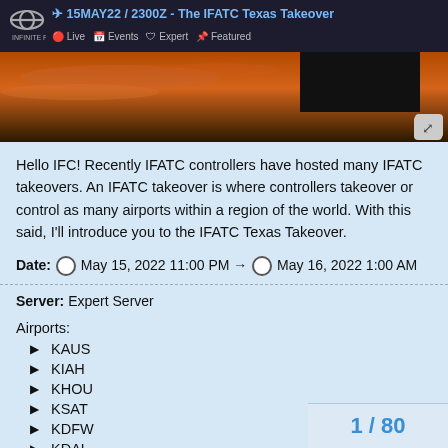15MAY22 / 2300Z - The IFATC Texas Takeover | Live | Events | Expert | Featured
[Figure (photo): Orange/brown sky sunset photo used as hero banner for the IFATC Texas Takeover event post]
Hello IFC! Recently IFATC controllers have hosted many IFATC takeovers. An IFATC takeover is where controllers takeover or control as many airports within a region of the world. With this said, I'll introduce you to the IFATC Texas Takeover.
Date: 🌐 May 15, 2022 11:00 PM → 🌐 May 16, 2022 1:00 AM
Server: Expert Server
Airports:
KAUS
KIAH
KHOU
KSAT
KDFW
KDAL
1 / 80